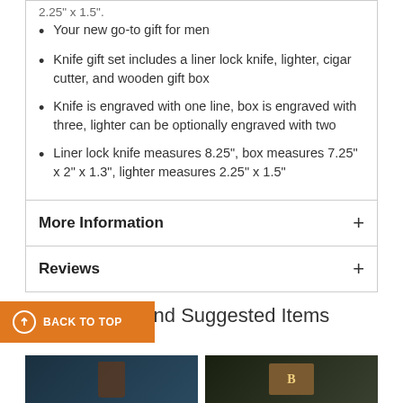2.25" x 1.5".
Your new go-to gift for men
Knife gift set includes a liner lock knife, lighter, cigar cutter, and wooden gift box
Knife is engraved with one line, box is engraved with three, lighter can be optionally engraved with two
Liner lock knife measures 8.25", box measures 7.25" x 2" x 1.3", lighter measures 2.25" x 1.5"
More Information
Reviews
d and Suggested Items
[Figure (photo): Photo of whiskey decanter and glass]
[Figure (photo): Photo of wooden cutting board with letter B]